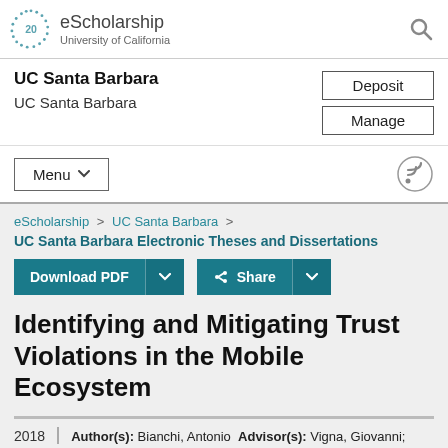eScholarship University of California
UC Santa Barbara
UC Santa Barbara
Deposit
Manage
Menu
eScholarship > UC Santa Barbara >
UC Santa Barbara Electronic Theses and Dissertations
Download PDF
Share
Identifying and Mitigating Trust Violations in the Mobile Ecosystem
2018 | Author(s): Bianchi, Antonio Advisor(s): Vigna, Giovanni; Kruegel, Christopher